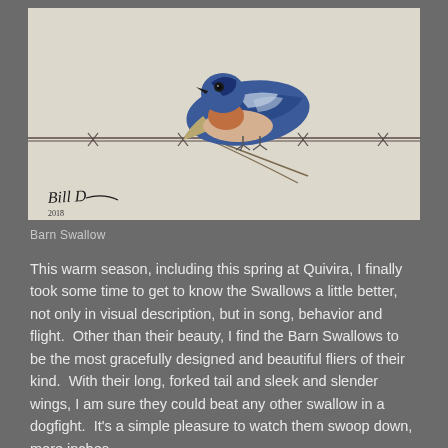[Figure (photo): A Barn Swallow perched on a barbed wire fence against a pale beige background. The bird has vivid blue plumage on its back and wings, an orange-red throat, and a pale peachy-white belly. Its long forked tail extends behind it. A handwritten artist signature 'Bill Dauer' appears in the lower left of the image.]
Barn Swallow
This warm season, including this spring at Quivira, I finally took some time to get to know the Swallows a little better, not only in visual description, but in song, behavior and flight.  Other than their beauty, I find the Barn Swallows to be the most gracefully designed and beautiful fliers of their kind.  With their long, forked tail and sleek and slender wings, I am sure they could beat any other swallow in a dogfight.  It's a simple pleasure to watch them swoop down, mere inches